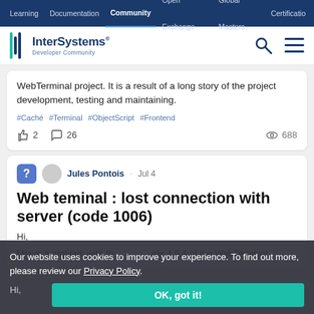Learning | Documentation | Community | Open Exchange | Global Masters | Certification
[Figure (logo): InterSystems Developer Community logo with search and menu icons]
WebTerminal project. It is a result of a long story of the project development, testing and maintaining.
#Caché  #Terminal  #ObjectScript  #Frontend
👍 2   💬 26   👁 688
Jules Pontois · Jul 4
Web teminal : lost connection with server (code 1006)
Hi,
I have a problem with the update 4.9.4 of the WebTerminal.
Our website uses cookies to improve your experience. To find out more, please review our Privacy Policy.